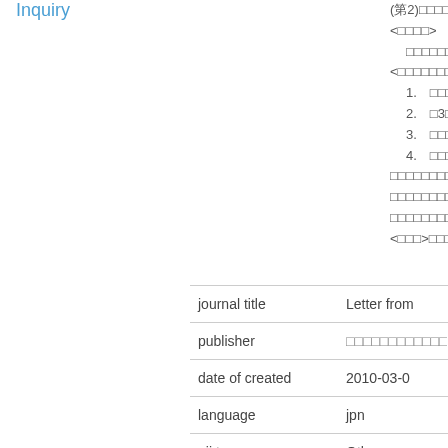Inquiry
(第2)□□□□□
<□□□□>
□□□□□□□□□□
<□□□□□□□□>
1.　□□□□□□□
2.　□3□□□□□□
3.　□□□□□□□□
4.　□□□□□□□□
□□□□□□□□ 35
□□□□□□□□ 36
□□□□□□□□ 37
<□□□>□□□□□□□
|  |  |
| --- | --- |
| journal title | Letter from |
| publisher | □□□□□□□□□□□□ |
| date of created | 2010-03-0 |
| language | jpn |
| nii type | Others |
| HU type | Lecture No |